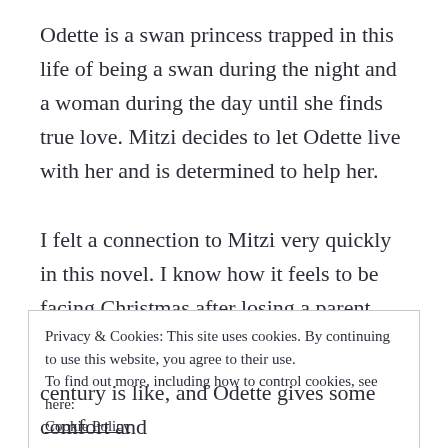Odette is a swan princess trapped in this life of being a swan during the night and a woman during the day until she finds true love. Mitzi decides to let Odette live with her and is determined to help her.
I felt a connection to Mitzi very quickly in this novel. I know how it feels to be facing Christmas after losing a parent, and it's hard. She misses her father terribly and doesn't know how to even begin to work through her grief and to come to terms with him being gone. She is looking for something or someone to fill the void in her
Privacy & Cookies: This site uses cookies. By continuing to use this website, you agree to their use.
To find out more, including how to control cookies, see here:
Cookie Policy
century is like, and Odette gives some comfort and